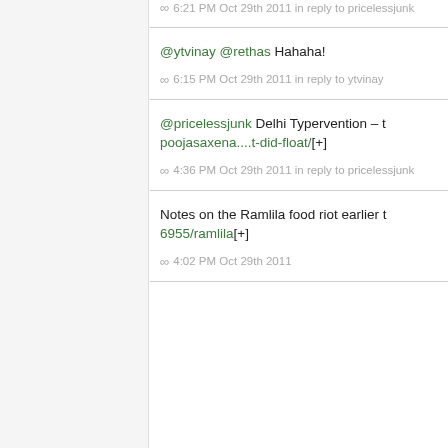∞  6:21 PM Oct 29th 2011 in reply to pricelessjunk
@ytvinay @rethas Hahaha!
∞  6:15 PM Oct 29th 2011 in reply to ytvinay
@pricelessjunk Delhi Typervention – t… poojasaxena....t-did-float/[+]
∞  4:36 PM Oct 29th 2011 in reply to pricelessjunk
Notes on the Ramlila food riot earlier t… 6955/ramlila[+]
∞  4:02 PM Oct 29th 2011